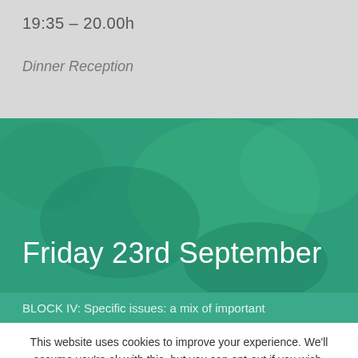19:35 – 20.00h
Dinner Reception
Friday 23rd September
BLOCK IV: Specific issues: a mix of important
This website uses cookies to improve your experience. We'll assume you're ok with this, but you can opt-out if you wish.
Cookie settings
ACCEPT